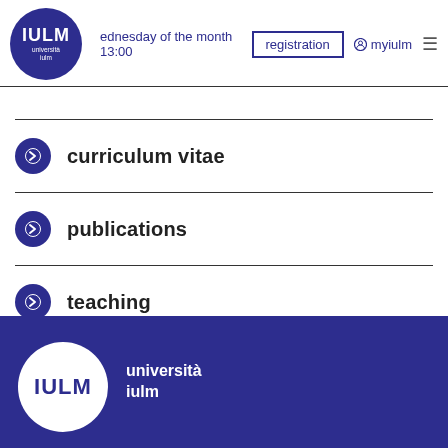IULM università iulm | Wednesday of the month ... registration myiulm
curriculum vitae
publications
teaching
IULM università iulm